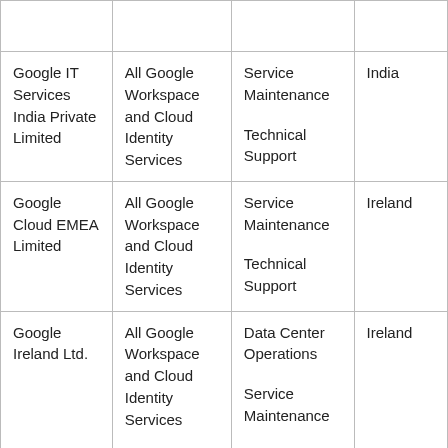| Google IT Services India Private Limited | All Google Workspace and Cloud Identity Services | Service Maintenance
Technical Support | India |
| Google Cloud EMEA Limited | All Google Workspace and Cloud Identity Services | Service Maintenance
Technical Support | Ireland |
| Google Ireland Ltd. | All Google Workspace and Cloud Identity Services | Data Center Operations
Service Maintenance
Technical Support | Ireland |
| Google | All Google | Service | Israel |